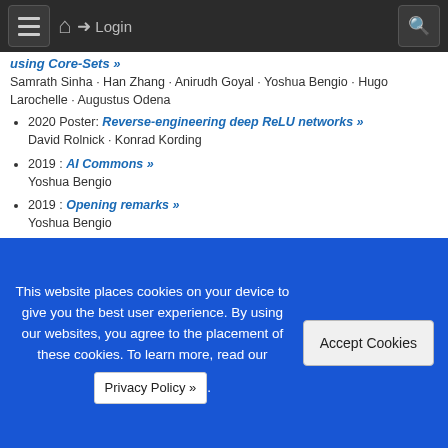☰ 🏠 → Login 🔍
using Core-Sets »
Samrath Sinha · Han Zhang · Anirudh Goyal · Yoshua Bengio · Hugo Larochelle · Augustus Odena
2020 Poster: Reverse-engineering deep ReLU networks »
David Rolnick · Konrad Kording
2019 : AI Commons »
Yoshua Bengio
2019 : Opening remarks »
Yoshua Bengio
2019 Workshop: AI For Social Good (AISG) »
Margaux Luck · Kris Sankaran · Tristan Sylvain · Sean McGregor · Jonnie Penn · Girmaw Abebe Tadesse · Virgile Sylvain · Myriam Côté · Lester Mackey · Rayid Ghani · Yoshua Bengio
This website places cookies on your device to give you the best user experience. By using our websites, you agree to the placement of these cookies. To learn more, read our Privacy Policy ».